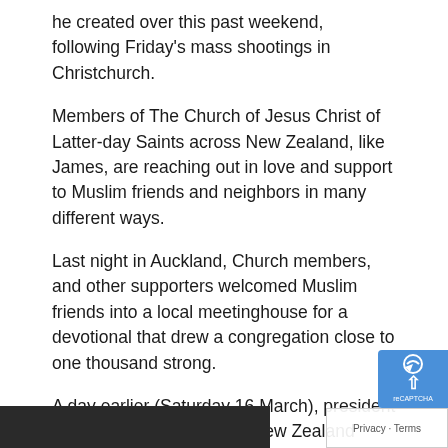he created over this past weekend, following Friday's mass shootings in Christchurch.
Members of The Church of Jesus Christ of Latter-day Saints across New Zealand, like James, are reaching out in love and support to Muslim friends and neighbors in many different ways.
Last night in Auckland, Church members, and other supporters welcomed Muslim friends into a local meetinghouse for a devotional that drew a congregation close to one thousand strong.
A day earlier (Saturday 16 March), president of the Church's Tauranga New Zealand Stake, Francis Fitzpatrick, and his wife Megan Fitzpatrick, shared some words of and support in this YouTube video.